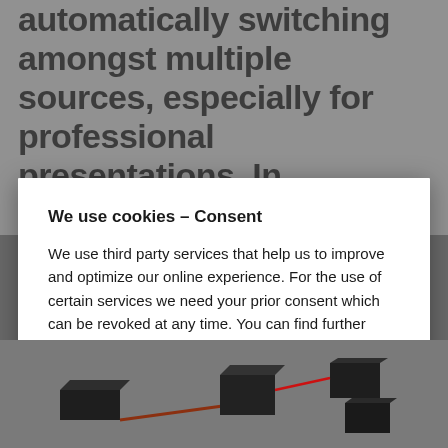automatically switching amongst multiple sources, especially for professional presentations. In conjunction with (IK
We use cookies – Consent
We use third party services that help us to improve and optimize our online experience. For the use of certain services we need your prior consent which can be revoked at any time. You can find further information on data protection in our privacy policy
Details
Allow all cookies
Save settings
[Figure (illustration): Dark isometric 3D blocks on grey background representing hardware or networking equipment]